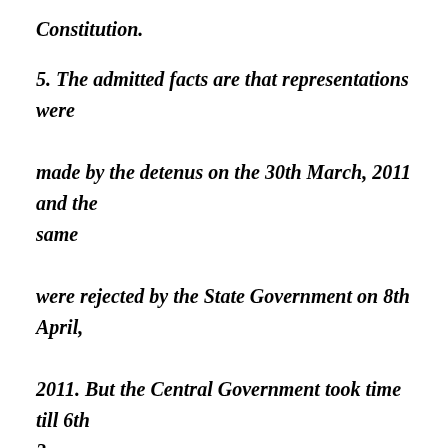Constitution.
5. The admitted facts are that representations were made by the detenus on the 30th March, 2011 and the same were rejected by the State Government on 8th April, 2011. But the Central Government took time till 6th 3 June, 2011 to reject the same. This delay on the part of the Central Government in the rejection of the detention representation has been sought to be explained on the basis of an affidavit filed on behalf